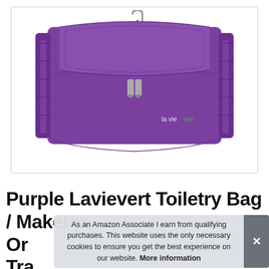[Figure (photo): Purple Lavievert toiletry/makeup bag hanging organizer. The bag is a rectangular purple fabric bag with a fold-over flap closure secured by a double zipper pull at center, accordion-style side panels, and a hanging hook at top center. Brand name 'la vie vert' is printed in white and green text on the lower right of the bag. Image is on a white background inside a light grey bordered box.]
Purple Lavievert Toiletry Bag / Makeup Organizer / Travel Hanging Storage Bag...
As an Amazon Associate I earn from qualifying purchases. This website uses the only necessary cookies to ensure you get the best experience on our website. More information